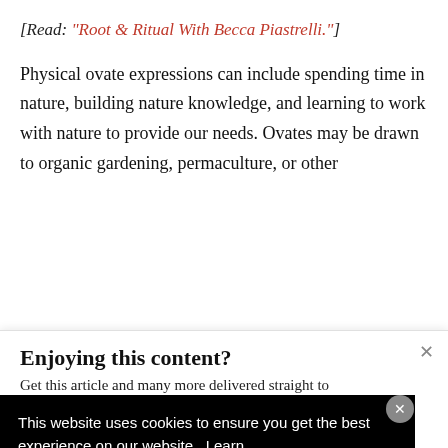[Read: "Root & Ritual With Becca Piastrelli."]
Physical ovate expressions can include spending time in nature, building nature knowledge, and learning to work with nature to provide our needs. Ovates may be drawn to organic gardening, permaculture, or other
Enjoying this content?
Get this article and many more delivered straight to
This website uses cookies to ensure you get the best experience on our website.  Learn More
[Figure (screenshot): Advertisement for BELK: Denim all day. www.belk.com, with a product image and navigation arrow.]